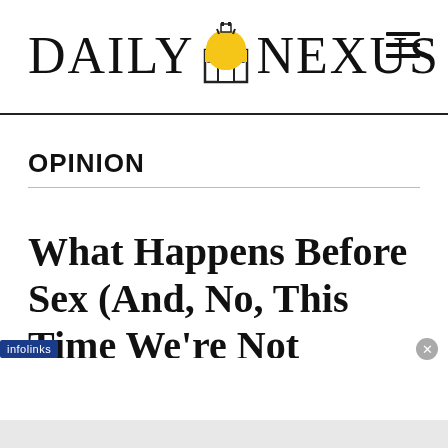DAILY NEXUS
OPINION
What Happens Before Sex (And, No, This Time We're Not